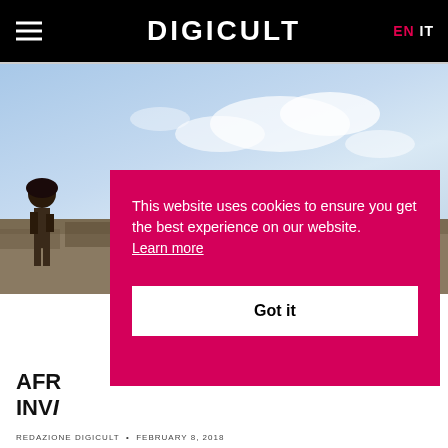DIGICULT
[Figure (photo): Outdoor photo showing a person standing on rocks with a blue sky and clouds in the background]
This website uses cookies to ensure you get the best experience on our website. Learn more
Got it
AFR INVL
REDAZIONE DIGICULT • FEBRUARY 8, 2018